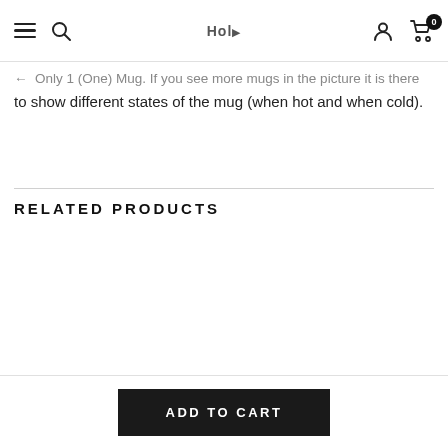Navigation bar with hamburger menu, search icon, Hol logo, user icon, cart with 0 items
Only 1 (One) Mug. If you see more mugs in the picture it is there to show different states of the mug (when hot and when cold).
RELATED PRODUCTS
[Figure (other): Empty related products area]
ADD TO CART